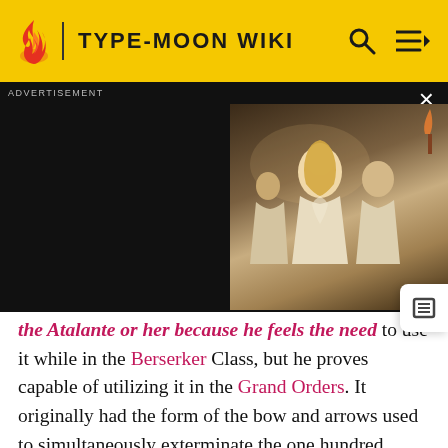TYPE-MOON WIKI
[Figure (screenshot): Advertisement banner with dark background showing a movie scene with a blonde woman and other figures in robes. Ad label at top left, close X button at top right.]
the [link] or her because he feels the need to use it while in the Berserker Class, but he proves capable of utilizing it in the Grand Orders. It originally had the form of the bow and arrows used to simultaneously exterminate the one hundred heads of the Lernaean Hydra, an immortal nine-headed serpent that would grow back no matter how many times it was cut down.[3] Upon slaying the Hydra at the end of a lengthy battle, Heracles devised this combat technique and became able to utilize utilizing the boost that come out he derivation of this Noble